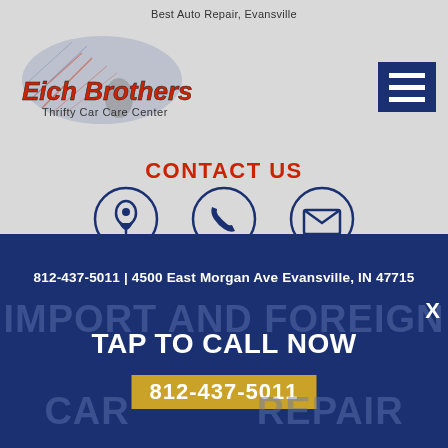Best Auto Repair, Evansville
[Figure (logo): Eich Brothers Thrifty Car Care Center logo with eagle wings graphic in red/blue/gray tones]
[Figure (infographic): Blue square hamburger/menu icon with three white horizontal lines]
CONTACT US
[Figure (infographic): Three circular contact icons: location pin, phone handset, and envelope/mail — all in dark blue outline on gray background]
812-437-5011 | 4500 East Morgan Ave Evansville, IN 47715
IMPORT AND FOREIGN
TAP TO CALL NOW
812-437-5011
CAR REPAIR